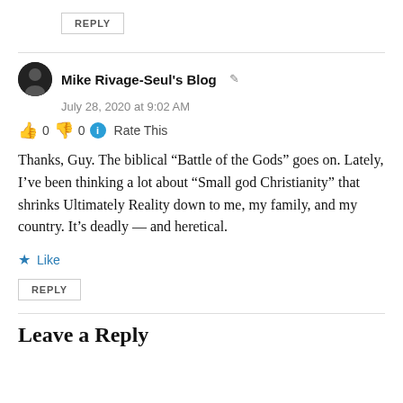REPLY
Mike Rivage-Seul's Blog
July 28, 2020 at 9:02 AM
👍 0 👎 0 ℹ Rate This
Thanks, Guy. The biblical “Battle of the Gods” goes on. Lately, I’ve been thinking a lot about “Small god Christianity” that shrinks Ultimately Reality down to me, my family, and my country. It’s deadly — and heretical.
★ Like
REPLY
Leave a Reply